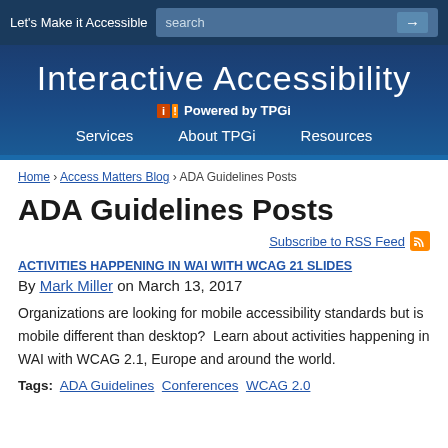Let's Make it Accessible | search
[Figure (screenshot): Interactive Accessibility - Powered by TPGi website header banner with navigation links: Services, About TPGi, Resources]
Home › Access Matters Blog › ADA Guidelines Posts
ADA Guidelines Posts
Subscribe to RSS Feed
ACTIVITIES HAPPENING IN WAI WITH WCAG 21 SLIDES
By Mark Miller on March 13, 2017
Organizations are looking for mobile accessibility standards but is mobile different than desktop?  Learn about activities happening in WAI with WCAG 2.1, Europe and around the world.
Tags:  ADA Guidelines  Conferences  WCAG 2.0